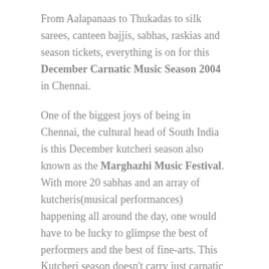From Aalapanaas to Thukadas to silk sarees, canteen bajjis, sabhas, raskias and season tickets, everything is on for this December Carnatic Music Season 2004 in Chennai.
One of the biggest joys of being in Chennai, the cultural head of South India is this December kutcheri season also known as the Marghazhi Music Festival. With more 20 sabhas and an array of kutcheris(musical performances) happening all around the day, one would have to be lucky to glimpse the best of performers and the best of fine-arts. This Kutcheri season doesn't carry just carnatic music, it also embeds the best of dance, drama and other artistic expressions.
Come december and Chennai is already in the festive mood. Be it the Isphani Plaza which is decorated with jingle bells, welcoming teenagers and the new year or